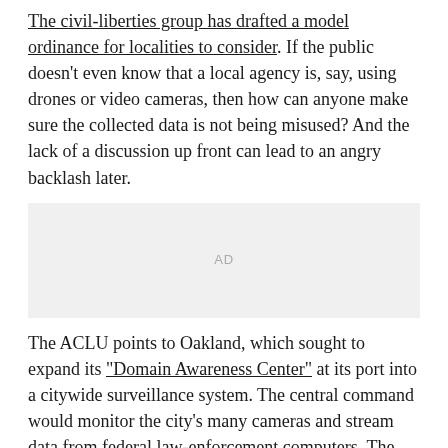The civil-liberties group has drafted a model ordinance for localities to consider. If the public doesn't even know that a local agency is, say, using drones or video cameras, then how can anyone make sure the collected data is not being misused? And the lack of a discussion up front can lead to an angry backlash later.
[Figure (other): Advertisement placeholder box with 'AD' label in light gray]
The ACLU points to Oakland, which sought to expand its "Domain Awareness Center" at its port into a citywide surveillance system. The central command would monitor the city's many cameras and stream data from federal law-enforcement computers. The stated goal was something right out of a dystopian movie, where the Department of Pre-Crime was watching everything. Eager for the federal